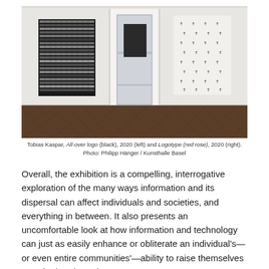[Figure (photo): Gallery interior with white walls and parquet floor. Two artworks hang on the wall flanking an open white door. On the left is a large black and white patterned canvas (All-over logo, black, 2020). On the right is a white canvas with scattered small dark marks (Logotype (red rose), 2020). Through the open door, another room is visible with a dark artwork.]
Tobias Kaspar, All-over logo (black), 2020 (left) and Logotype (red rose), 2020 (right). Photo: Philipp Hänger / Kunsthalle Basel
Overall, the exhibition is a compelling, interrogative exploration of the many ways information and its dispersal can affect individuals and societies, and everything in between. It also presents an uncomfortable look at how information and technology can just as easily enhance or obliterate an individual's—or even entire communities'—ability to raise themselves up, whether through